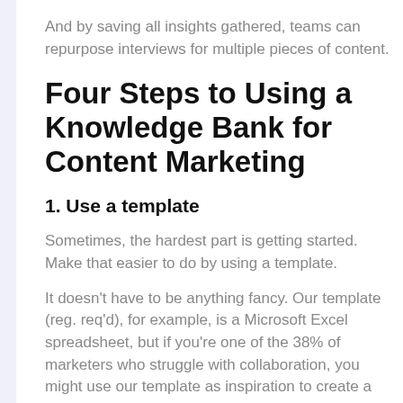And by saving all insights gathered, teams can repurpose interviews for multiple pieces of content.
Four Steps to Using a Knowledge Bank for Content Marketing
1. Use a template
Sometimes, the hardest part is getting started. Make that easier to do by using a template.
It doesn't have to be anything fancy. Our template (reg. req'd), for example, is a Microsoft Excel spreadsheet, but if you're one of the 38% of marketers who struggle with collaboration, you might use our template as inspiration to create a